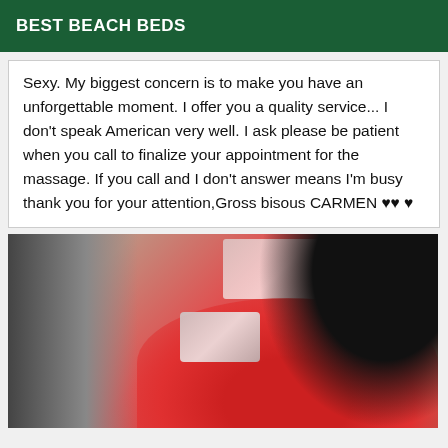BEST BEACH BEDS
Sexy. My biggest concern is to make you have an unforgettable moment. I offer you a quality service... I don't speak American very well. I ask please be patient when you call to finalize your appointment for the massage. If you call and I don't answer means I'm busy thank you for your attention,Gross bisous CARMEN ♥♥♥
[Figure (photo): Woman in red top taking a mirror selfie, with dark hair and a phone held up to her face, in a room with equipment on the left side]